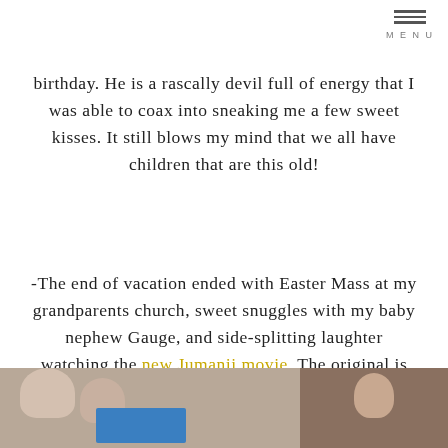birthday. He is a rascally devil full of energy that I was able to coax into sneaking me a few sweet kisses. It still blows my mind that we all have children that are this old!
-The end of vacation ended with Easter Mass at my grandparents church, sweet snuggles with my baby nephew Gauge, and side-splitting laughter watching the new Jumanji movie. The original is one of my favorite movies! I really loved this updated take on it!
[Figure (photo): Two photos side by side at the bottom: left shows children near a blue box/toy, right shows a woman]